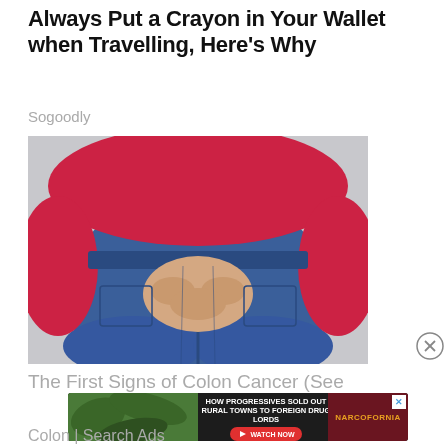Always Put a Crayon in Your Wallet when Travelling, Here's Why
Sogoodly
[Figure (photo): Close-up of a person wearing a red long-sleeve shirt and blue jeans, hands clasped behind their back near the back pockets of the jeans.]
[Figure (screenshot): Advertisement overlay: 'HOW PROGRESSIVES SOLD OUT RURAL TOWNS TO FOREIGN DRUG LORDS' with a NARCOFORNIA logo and a red WATCH NOW button with play icon.]
The First Signs of Colon Cancer (See...
Colon | Search Ads